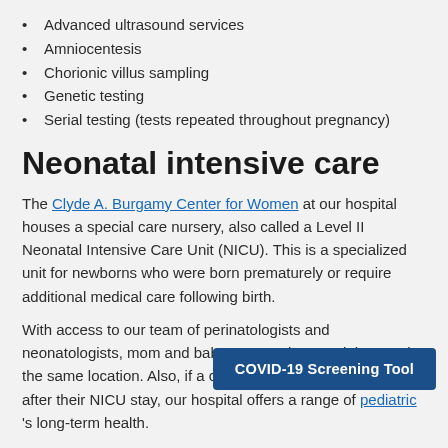Advanced ultrasound services
Amniocentesis
Chorionic villus sampling
Genetic testing
Serial testing (tests repeated throughout pregnancy)
Neonatal intensive care
The Clyde A. Burgamy Center for Women at our hospital houses a special care nursery, also called a Level II Neonatal Intensive Care Unit (NICU). This is a specialized unit for newborns who were born prematurely or require additional medical care following birth.
With access to our team of perinatologists and neonatologists, mom and baby can receive specialty care in the same location. Also, if a child will require continued care after their NICU stay, our hospital offers a range of pediatric [services] to support the child's long-term health.